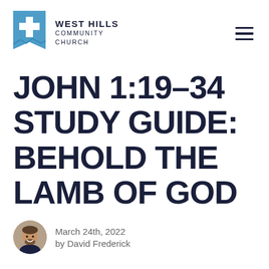[Figure (logo): West Hills Community Church logo: blue pennant/bookmark shape with white cross, beside bold text WEST HILLS COMMUNITY CHURCH]
JOHN 1:19-34 STUDY GUIDE: BEHOLD THE LAMB OF GOD
[Figure (photo): Circular headshot photo of David Frederick, a man with short beard, smiling]
March 24th, 2022
by David Frederick